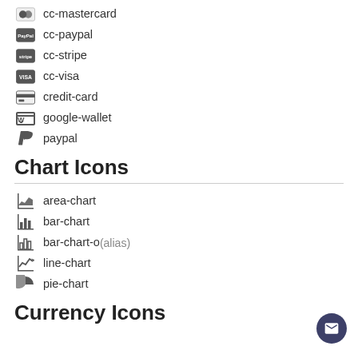cc-mastercard
cc-paypal
cc-stripe
cc-visa
credit-card
google-wallet
paypal
Chart Icons
area-chart
bar-chart
bar-chart-o (alias)
line-chart
pie-chart
Currency Icons